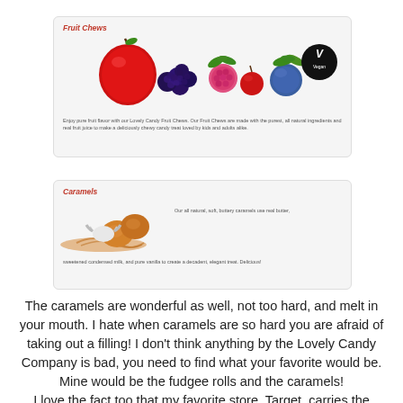[Figure (photo): Fruit Chews product card with colorful fruits (apple, blackberry, raspberry, cranberry, blueberry) and a Vegan badge. Title 'Fruit Chews' in red italic. Description text below.]
Enjoy pure fruit flavor with our Lovely Candy Fruit Chews. Our Fruit Chews are made with the purest, all natural ingredients and real fruit juice to make a deliciously chewy candy treat loved by kids and adults alike.
[Figure (photo): Caramels product card with caramel candies image on left and description text on right. Title 'Caramels' in red italic.]
Our all natural, soft, buttery caramels use real butter, sweetened condensed milk, and pure vanilla to create a decadent, elegant treat. Delicious!
The caramels are wonderful as well, not too hard, and melt in your mouth. I hate when caramels are so hard you are afraid of taking out a filling! I don't think anything by the Lovely Candy Company is bad, you need to find what your favorite would be. Mine would be the fudgee rolls and the caramels!
I love the fact too that my favorite store, Target, carries the